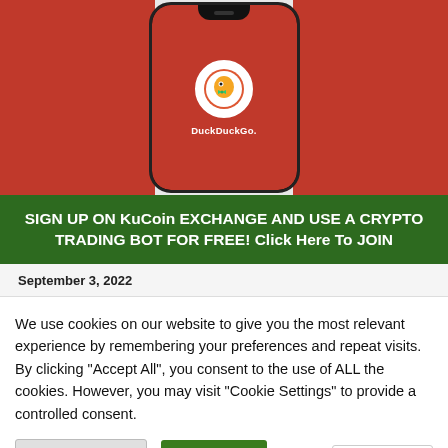[Figure (screenshot): DuckDuckGo mobile app on a smartphone with orange background, showing DuckDuckGo logo and name]
SIGN UP ON KuCoin EXCHANGE AND USE A CRYPTO TRADING BOT FOR FREE! Click Here To JOIN
September 3, 2022
We use cookies on our website to give you the most relevant experience by remembering your preferences and repeat visits. By clicking "Accept All", you consent to the use of ALL the cookies. However, you may visit "Cookie Settings" to provide a controlled consent.